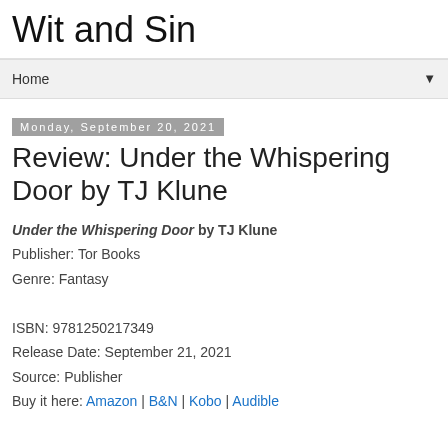Wit and Sin
Home ▼
Monday, September 20, 2021
Review: Under the Whispering Door by TJ Klune
Under the Whispering Door by TJ Klune
Publisher: Tor Books
Genre: Fantasy

ISBN: 9781250217349
Release Date: September 21, 2021
Source: Publisher
Buy it here: Amazon | B&N | Kobo | Audible